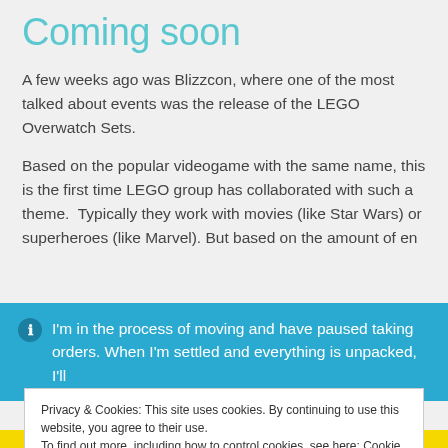Coming soon
A few weeks ago was Blizzcon, where one of the most talked about events was the release of the LEGO Overwatch Sets.
Based on the popular videogame with the same name, this is the first time LEGO group has collaborated with such a theme.  Typically they work with movies (like Star Wars) or superheroes (like Marvel). But based on the amount of en...
ℹ I'm in the process of moving and have paused taking orders. When I'm settled and everything is unpacked, I'll
Privacy & Cookies: This site uses cookies. By continuing to use this website, you agree to their use. To find out more, including how to control cookies, see here: Cookie Policy
Close and accept